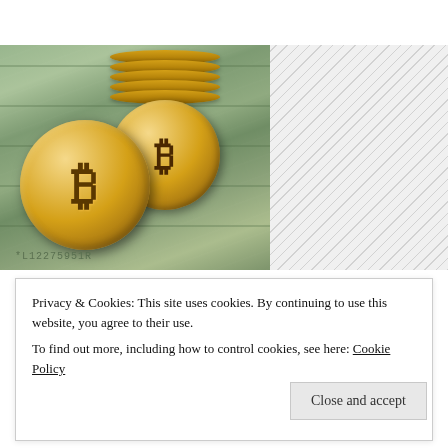[Figure (photo): Photo of two gold Bitcoin coins resting on top of US dollar bills. A large Bitcoin coin is prominent in the foreground-left, with a stack of Bitcoin coins behind it to the right. The right portion of the image area has a diagonal hatched/gray pattern background.]
Privacy & Cookies: This site uses cookies. By continuing to use this website, you agree to their use.
To find out more, including how to control cookies, see here: Cookie Policy
Close and accept